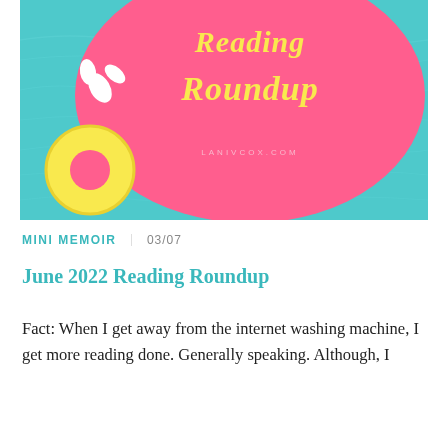[Figure (illustration): Blog post header image showing a pool water background with a large pink blob shape overlay containing yellow cursive text 'Reading Roundup', a yellow donut float in the lower left, white splash shapes, and the URL 'LANIVCOX.COM' in small text on the pink blob.]
MINI MEMOIR   03/07
June 2022 Reading Roundup
Fact: When I get away from the internet washing machine, I get more reading done. Generally speaking. Although, I